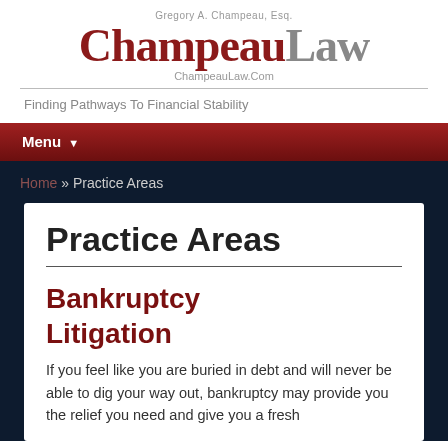[Figure (logo): Champeau Law logo with tagline 'Gregory A. Champeau, Esq.' above, 'ChampeauLaw' in large serif text, 'ChampeauLaw.Com' below]
Finding Pathways To Financial Stability
Menu
Home » Practice Areas
Practice Areas
Bankruptcy Litigation
If you feel like you are buried in debt and will never be able to dig your way out, bankruptcy may provide you the relief you need and give you a fresh